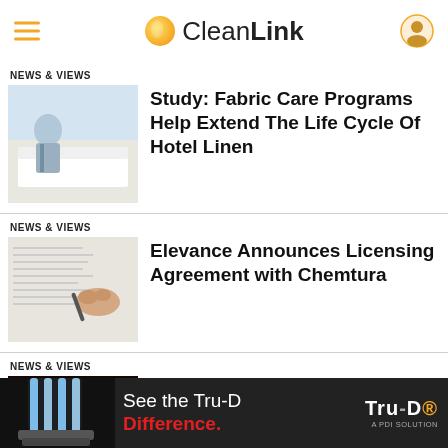CleanLink
NEWS & VIEWS
Study: Fabric Care Programs Help Extend The Life Cycle Of Hotel Linen
NEWS & VIEWS
Elevance Announces Licensing Agreement with Chemtura
NEWS & VIEWS
Study Reveals UV Disinfection Rates
NEWS & VIEWS
[Figure (photo): Advertisement banner for Tru-D UV disinfection product reading 'See the Tru-D Difference.' with a UV lamp image and 'A PDI SOLUTION' tagline]